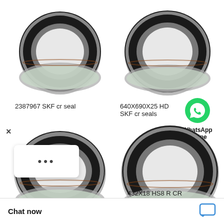[Figure (photo): Top-left: circular metal oil seal (SKF cr seal 2387967), viewed from front, dark rubber ring with metallic outer case and green-tinted inner boot]
[Figure (photo): Top-right: circular metal oil seal (640X690X25 HDS SKF cr seal), viewed from front, dark rubber ring with metallic outer case]
2387967 SKF cr seal
640X690X25 HD SKF cr seals
[Figure (logo): WhatsApp green phone icon circle]
WhatsApp Online
[Figure (photo): Bottom-left: circular metal oil seal, viewed from front, dark rubber ring with metallic outer case and green-tinted boot]
[Figure (photo): Bottom-right: circular metal oil seal, viewed from front, dark rubber ring with metallic outer case]
×
•••
Chat now
432X18 HS8 R CR